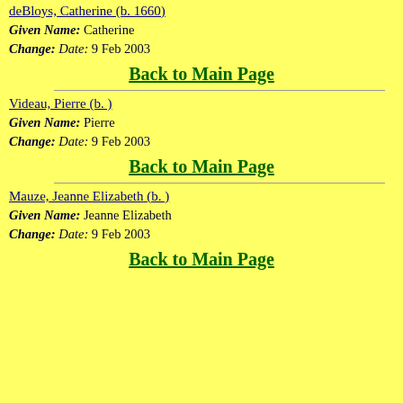deBloys, Catherine (b. 1660)
Given Name: Catherine
Change: Date: 9 Feb 2003
Back to Main Page
Videau, Pierre (b. )
Given Name: Pierre
Change: Date: 9 Feb 2003
Back to Main Page
Mauze, Jeanne Elizabeth (b. )
Given Name: Jeanne Elizabeth
Change: Date: 9 Feb 2003
Back to Main Page